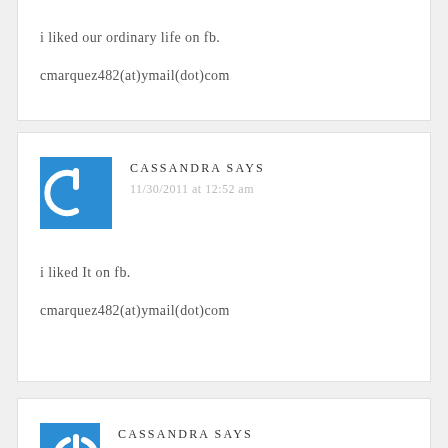i liked our ordinary life on fb.
cmarquez482(at)ymail(dot)com
CASSANDRA SAYS
11/30/2011 at 12:52 am
i liked It on fb.
cmarquez482(at)ymail(dot)com
CASSANDRA SAYS
11/30/2011 at 12:51 am